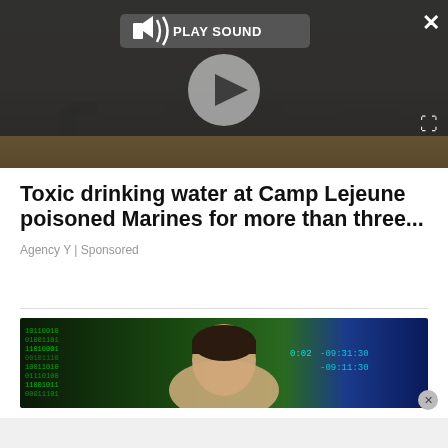[Figure (screenshot): Video player overlay with dark background, play button circle, speaker/sound icon, PLAY SOUND label, and X close button]
[Figure (photo): Military scene photo - soldiers/marines in field environment, ground/desert terrain visible at bottom]
Toxic drinking water at Camp Lejeune poisoned Marines for more than three...
Agency Y | Sponsored
[Figure (photo): Man with dark hair partially visible in front of digital/matrix-style background with green and blue colors and timestamp overlays showing 0:02 and -09:11:30]